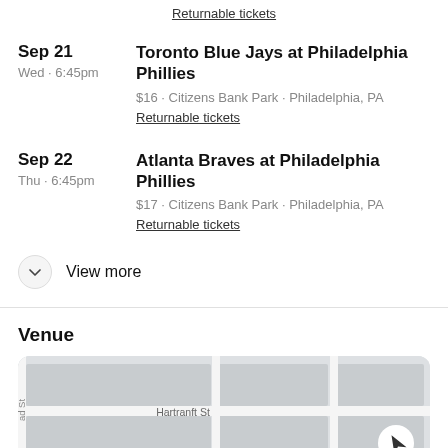Returnable tickets
Sep 21 · Wed · 6:45pm · Toronto Blue Jays at Philadelphia Phillies · $16 · Citizens Bank Park · Philadelphia, PA · Returnable tickets
Sep 22 · Thu · 6:45pm · Atlanta Braves at Philadelphia Phillies · $17 · Citizens Bank Park · Philadelphia, PA · Returnable tickets
View more
Venue
[Figure (map): Street map showing Hartranft St area near Citizens Bank Park, Philadelphia, with navigation arrow button]